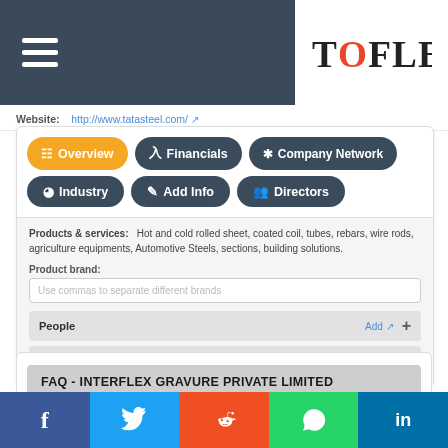Tofler - Header with hamburger menu and Tofler logo
Website: http://www.tatasteel.com/
[Figure (screenshot): Navigation buttons: Overview (active/yellow), Financials, Company Network, Industry, Add Info, Directors]
Products & services: Hot and cold rolled sheet, coated coil, tubes, rebars, wire rods, agriculture equipments, Automotive Steels, sections, building solutions.
Product brand:
Use commas to separate different brands
People  Add +
Contact  Add +
FAQ - INTERFLEX GRAVURE PRIVATE LIMITED
Social share bar: Facebook, Twitter, Reddit, WhatsApp, LinkedIn